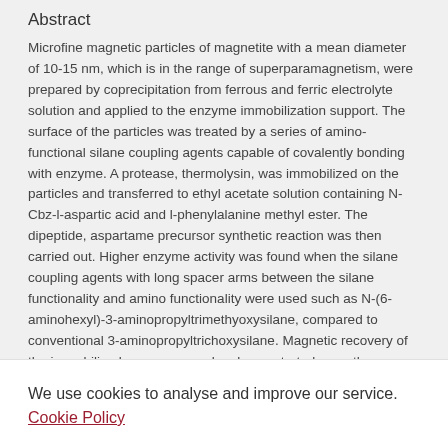Abstract
Microfine magnetic particles of magnetite with a mean diameter of 10-15 nm, which is in the range of superparamagnetism, were prepared by coprecipitation from ferrous and ferric electrolyte solution and applied to the enzyme immobilization support. The surface of the particles was treated by a series of amino-functional silane coupling agents capable of covalently bonding with enzyme. A protease, thermolysin, was immobilized on the particles and transferred to ethyl acetate solution containing N-Cbz-l-aspartic acid and l-phenylalanine methyl ester. The dipeptide, aspartame precursor synthetic reaction was then carried out. Higher enzyme activity was found when the silane coupling agents with long spacer arms between the silane functionality and amino functionality were used such as N-(6-aminohexyl)-3-aminopropyltrimethyoxysilane, compared to conventional 3-aminopropyltrichoxysilane. Magnetic recovery of the immobilized enzyme was also demonstrated upon the application of an external magnetic field.
We use cookies to analyse and improve our service. Cookie Policy